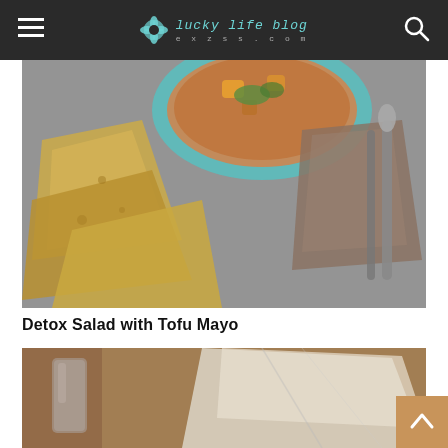lucky life blog exzss.com
[Figure (photo): Overhead view of a bowl of soup with vegetables on a gray concrete surface, with tortilla chips on the left, a brown cloth napkin folded in the center-right, and a silver spoon resting on the napkin.]
Detox Salad with Tofu Mayo
[Figure (photo): Close-up of a table setting with a glass of water on the left, a folded white/cream cloth napkin in the center-right, and blurred background, warm brown tones.]